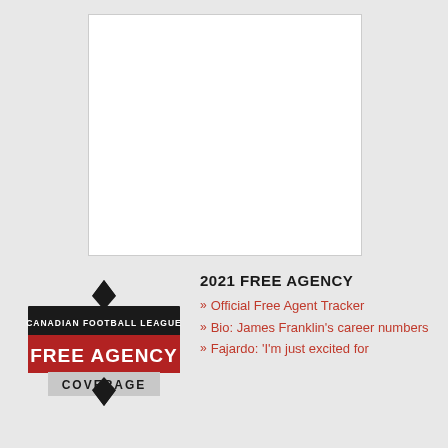[Figure (photo): White blank image placeholder rectangle]
[Figure (logo): Canadian Football League Free Agency Coverage badge logo with diamond arrow top and bottom, dark background with red FREE AGENCY text and grey COVERAGE text]
2021 FREE AGENCY
Official Free Agent Tracker
Bio: James Franklin's career numbers
Fajardo: 'I'm just excited for